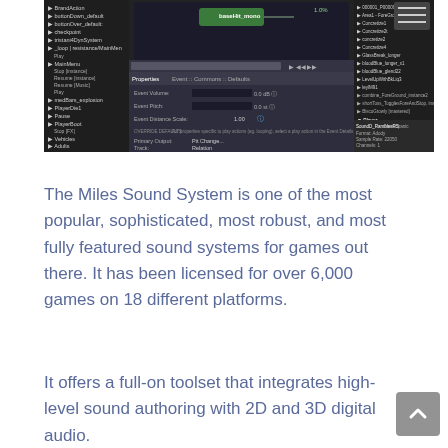[Figure (screenshot): Screenshot of Miles Sound System editor interface showing audio properties panel, event settings, waveform list, and audio asset inspector with parameters like Sample Rate 22050, Channels 1, Duration 1.38 sec, Compression Default.]
The Miles Sound System is one of the most popular, sophisticated, most robust, and most fully featured sound systems for games out there. It has been licensed for over 6,000 games on 18 different platforms.
It offers a full-on toolset that integrates high-level sound authoring with 2D and 3D digital audio.